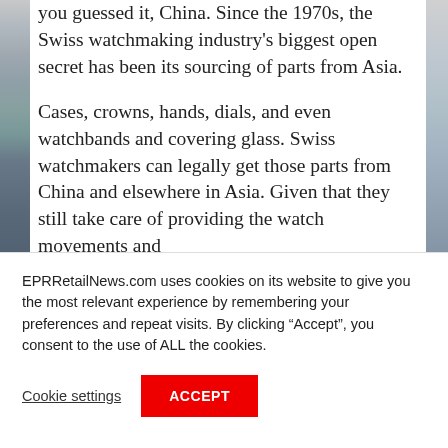[Figure (photo): Partial view of image strips on left and right edges of article section]
you guessed it, China. Since the 1970s, the Swiss watchmaking industry's biggest open secret has been its sourcing of parts from Asia.
Cases, crowns, hands, dials, and even watchbands and covering glass. Swiss watchmakers can legally get those parts from China and elsewhere in Asia. Given that they still take care of providing the watch movements and
EPRRetailNews.com uses cookies on its website to give you the most relevant experience by remembering your preferences and repeat visits. By clicking “Accept”, you consent to the use of ALL the cookies.
Cookie settings
ACCEPT